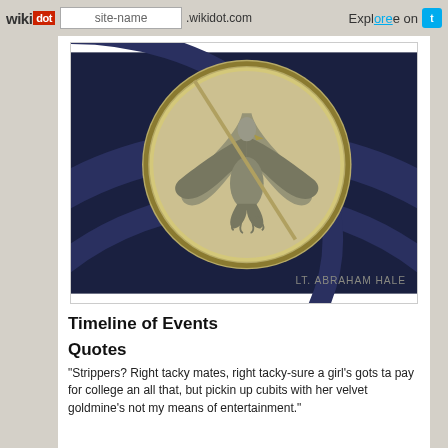wikidot | site-name .wikidot.com | Explore | Share on
[Figure (photo): A silver commemorative coin or medal featuring an eagle with wings spread, set against a dark navy blue case. Text at the bottom reads 'LT. ABRAHAM HALE'.]
Timeline of Events
Quotes
"Strippers? Right tacky mates, right tacky-sure a girl's gots ta pay for college an all that, but pickin up cubits with her velvet goldmine's not my means of entertainment."